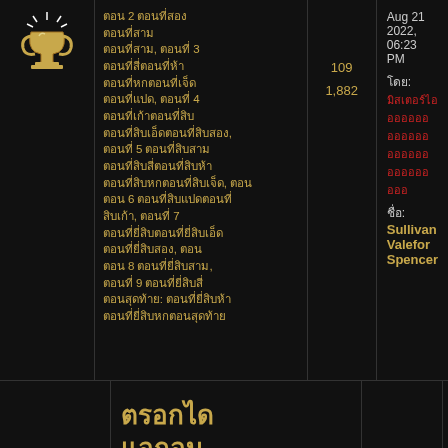[Figure (illustration): Gold trophy cup with sparkles icon]
ตอน 2 ตอนที่สอง ตอนที่สาม, ตอนที่ 3 ตอนที่สี่ตอนที่ห้า ตอนที่หก, ตอนที่ 4 ตอนที่เจ็ดตอนที่แปด ตอนที่เก้า, ตอนที่ 5 ตอนที่สิบ ตอนที่สิบเอ็ดตอนที่สิบสอง, ตอน 6 ตอนที่สิบสามตอนที่สิบสี่, ตอนที่ 7 ตอนที่สิบห้าตอนที่สิบหก, ตอน 8 ตอนที่สิบเจ็ด, ตอนที่ 9 ตอนที่สิบแปด ตอนสุดท้าย: ตอนที่สิบเก้า ตอนที่ยี่สิบ
109    1,882
Aug 21 2022, 06:23 PM
โดย: [Thai username in red]
ชื่อ: Sullivan Valefor Spencer
ตรอกไดแอกอน